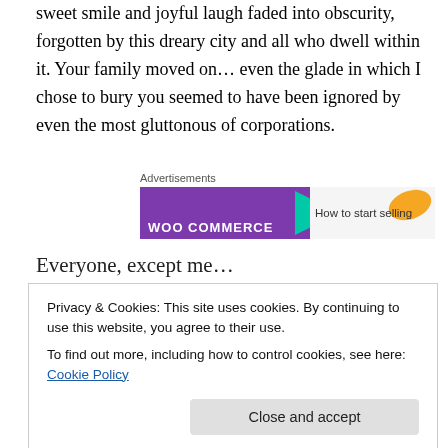sweet smile and joyful laugh faded into obscurity, forgotten by this dreary city and all who dwell within it. Your family moved on… even the glade in which I chose to bury you seemed to have been ignored by even the most gluttonous of corporations.
[Figure (other): WooCommerce advertisement banner with purple background, green arrow, orange leaf graphic, and text 'How to start selling']
Everyone, except me…
Emylia's plan for me changed over the years, leading me
Privacy & Cookies: This site uses cookies. By continuing to use this website, you agree to their use.
To find out more, including how to control cookies, see here: Cookie Policy